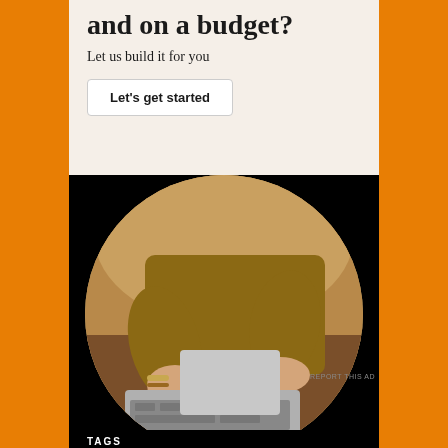and on a budget?
Let us build it for you
Let's get started
[Figure (photo): Circular cropped photo of a person wearing a mustard/ochre sweater working on a laptop at a wooden desk, viewed from above and slightly to the side. Their hands are on the keyboard and trackpad.]
REPORT THIS AD
TAGS
1950s 1960's 1960s accessories Advertising art